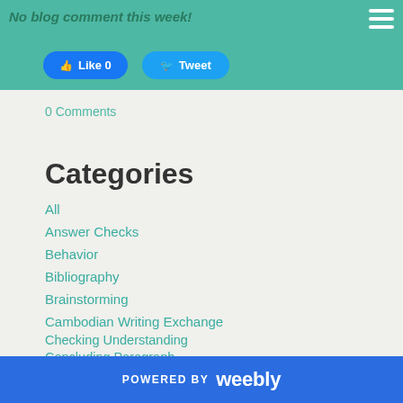No blog comment this week!
[Figure (screenshot): Facebook Like button and Twitter Tweet button]
0 Comments
Categories
All
Answer Checks
Behavior
Bibliography
Brainstorming
Cambodian Writing Exchange
Checking Understanding
Concluding Paragraph
Conferences
Correction Symbols
POWERED BY weebly